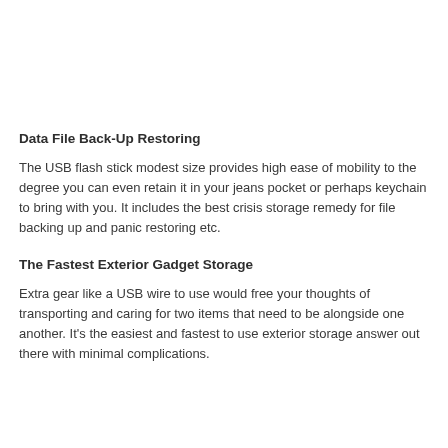Data File Back-Up Restoring
The USB flash stick modest size provides high ease of mobility to the degree you can even retain it in your jeans pocket or perhaps keychain to bring with you. It includes the best crisis storage remedy for file backing up and panic restoring etc.
The Fastest Exterior Gadget Storage
Extra gear like a USB wire to use would free your thoughts of transporting and caring for two items that need to be alongside one another. It's the easiest and fastest to use exterior storage answer out there with minimal complications.